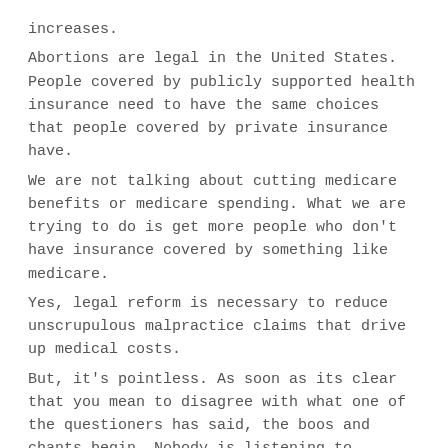increases.
Abortions are legal in the United States. People covered by publicly supported health insurance need to have the same choices that people covered by private insurance have.
We are not talking about cutting medicare benefits or medicare spending. What we are trying to do is get more people who don’t have insurance covered by something like medicare.
Yes, legal reform is necessary to reduce unscrupulous malpractice claims that drive up medical costs.
But, it’s pointless. As soon as its clear that you mean to disagree with what one of the questioners has said, the boos and chants begin. Nobody is listening to anything you say. And, even if you managed to get the words out, they wouldn’t believe you. They have been briefed by their favorite talk radio hosts. And, many of the people there have been bused in or organized by political action groups. They have their talking points. Many of them believe fervently what they are saying — that proposed reforms will